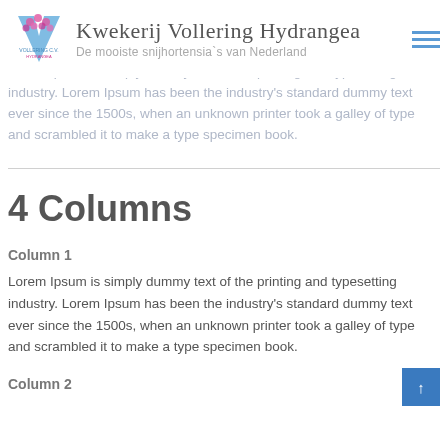Kwekerij Vollering Hydrangea — De mooiste snijhortensia`s van Nederland
Lorem Ipsum is simply dummy text of the printing and typesetting industry. Lorem Ipsum has been the industry's standard dummy text ever since the 1500s, when an unknown printer took a galley of type and scrambled it to make a type specimen book.
4 Columns
Column 1
Lorem Ipsum is simply dummy text of the printing and typesetting industry. Lorem Ipsum has been the industry's standard dummy text ever since the 1500s, when an unknown printer took a galley of type and scrambled it to make a type specimen book.
Column 2